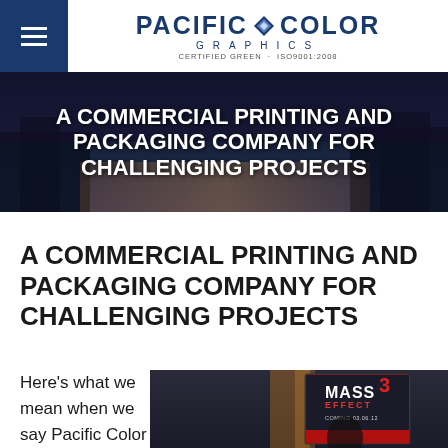Pacific Color Graphics — CERTIFIED GREEN · ISO9001:2008
[Figure (photo): Hero banner with dark building background and white text overlay reading 'A COMMERCIAL PRINTING AND PACKAGING COMPANY FOR CHALLENGING PROJECTS']
A COMMERCIAL PRINTING AND PACKAGING COMPANY FOR CHALLENGING PROJECTS
Here's what we mean when we say Pacific Color
[Figure (photo): Mass Effect 3 collector's edition box packaging with 'Coming 03.06.12' text, showing game artwork with armored soldier]